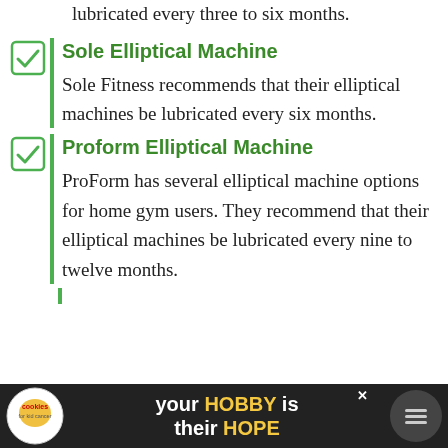lubricated every three to six months.
Sole Elliptical Machine
Sole Fitness recommends that their elliptical machines be lubricated every six months.
Proform Elliptical Machine
ProForm has several elliptical machine options for home gym users. They recommend that their elliptical machines be lubricated every nine to twelve months.
[Figure (infographic): Advertisement banner: 'your HOBBY is their HOPE' with cookies for kid cancer logo and a dark background]